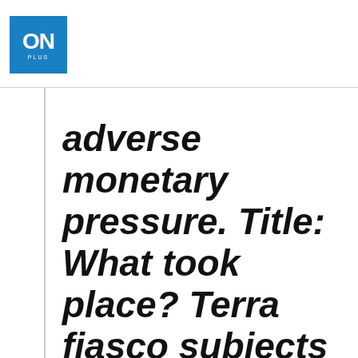ON PLUS
adverse monetary pressure. Title: What took place? Terra fiasco subjects defects plaguing the